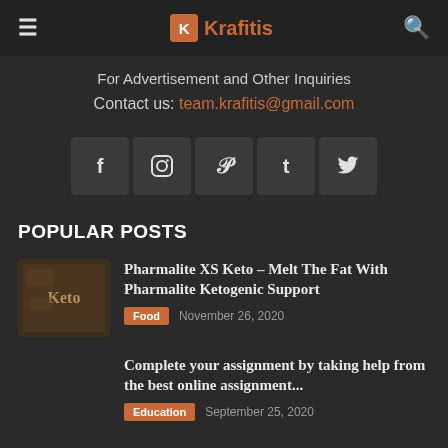≡  Krafitis  🔍
For Advertisement and Other Inquiries
Contact us: team.krafitis@gmail.com
[Figure (other): Social media icons: Facebook, Instagram, Pinterest, Tumblr, Twitter]
POPULAR POSTS
[Figure (photo): Thumbnail image for Keto article, dark brown tones with 'Keto' text]
Pharmalite XS Keto – Melt The Fat With Pharmalite Ketogenic Support
Food  November 26, 2020
Complete your assignment by taking help from the best online assignment...
Education  September 25, 2020